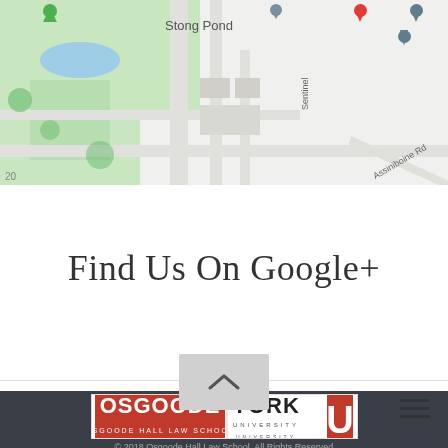[Figure (map): Google Maps screenshot showing Stong Pond area, York University campus, with Sentinel Road and Assiniboine Rd visible, and map pins for various locations.]
Find Us On Google+
[Figure (other): Hamburger menu icon (three horizontal lines) in the navigation bar]
[Figure (other): Back to top arrow button (chevron up) in light gray box]
[Figure (logo): Osgoode Hall Law School and York University logo in white box on dark footer]
© 2018 Osgoode Hall Law School. All Rights Reserved